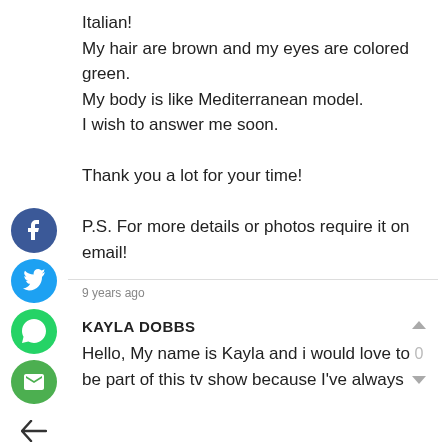Italian!
My hair are brown and my eyes are colored green.
My body is like Mediterranean model.
I wish to answer me soon.

Thank you a lot for your time!

P.S. For more details or photos require it on email!
9 years ago
KAYLA DOBBS
Hello, My name is Kayla and i would love to be part of this tv show because I've always